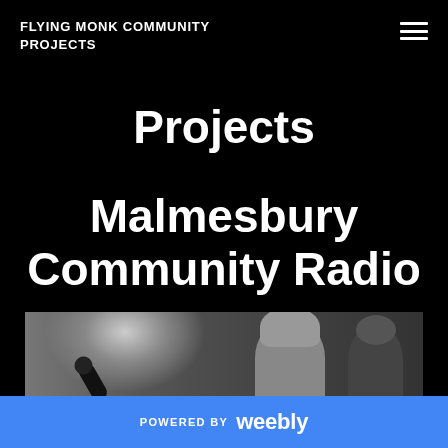FLYING MONK COMMUNITY PROJECTS
Projects
Malmesbury Community Radio
[Figure (photo): Black and white photo of people at a radio studio microphone, two persons visible]
POWERED BY weebly